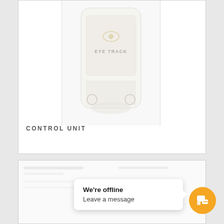[Figure (photo): Blurred product image of an EYE TRACK control unit device — a white/light-colored hardware device with eye tracking sensors visible at the bottom corners, shown inside a white card panel.]
CONTROL UNIT
[Figure (screenshot): Second product card (partially visible, blurred) below the first card, showing another product view.]
We're offline
Leave a message